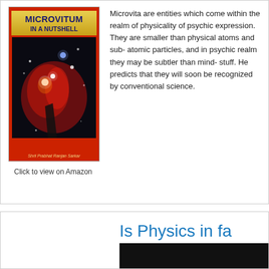[Figure (photo): Book cover of 'Microvitum in a Nutshell' by Shrii Prabhat Ranjan Sarkar. Red background with gold title banner and a nebula/space photograph. Author name at bottom.]
Click to view on Amazon
Microvita are entities which come within the realm of physicality of psychic expression. They are smaller than physical atoms and sub- atomic particles, and in psychic realm they may be subtler than mind- stuff. He predicts that they will soon be recognized by conventional science.
Is Physics in fa
[Figure (photo): Dark/black image partially visible at bottom right of page]